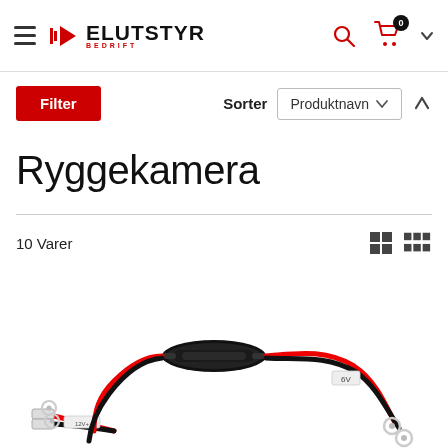[Figure (logo): Elutstyr Bedrift logo with red play-button triangle and stacked bars icon, black bold text ELUTSTYR with red BEDRIFT subtitle]
Filter
Sorter   Produktnavn
Ryggekamera
10 Varer
[Figure (photo): Electronic cable assembly with black inline fuse holder, red and black wires, ring terminals and connectors on white background]